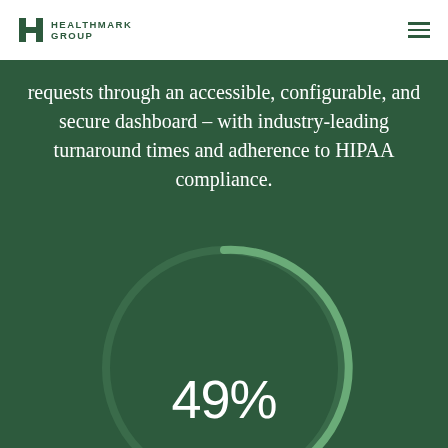Healthmark Group
requests through an accessible, configurable, and secure dashboard – with industry-leading turnaround times and adherence to HIPAA compliance.
[Figure (donut-chart): 49%]